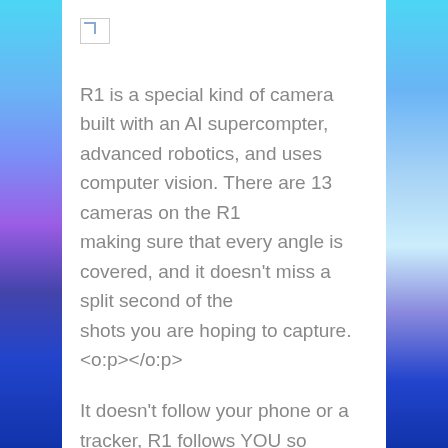[Figure (illustration): Broken/missing image icon placeholder at top left of content area]
R1 is a special kind of camera built with an AI supercompter, advanced robotics, and uses computer vision. There are 13 cameras on the R1 making sure that every angle is covered, and it doesn't miss a split second of the shots you are hoping to capture. <o:p></o:p>
It doesn't follow your phone or a tracker, R1 follows YOU so you can go totally 100% hands-free. At the same time as following you it can also understand what you are doing, what is around you, and what not to fly into. Since the R1 can interpret each of the scenarios it is put in, by always analyzing